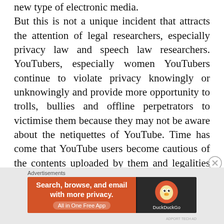new type of electronic media. But this is not a unique incident that attracts the attention of legal researchers, especially privacy law and speech law researchers. YouTubers, especially women YouTubers continue to violate privacy knowingly or unknowingly and provide more opportunity to trolls, bullies and offline perpetrators to victimise them because they may not be aware about the netiquettes of YouTube. Time has come that YouTube users become cautious of the contents uploaded by them and legalities attached with such uploading and sharing. In this festive season YouTube content uploading and sharing may have seen a steep rise. But it is upon YouTubers to control what must be shared and may not.
Advertisements
[Figure (other): DuckDuckGo advertisement banner with orange left panel reading 'Search, browse, and email with more privacy. All in One Free App' and dark right panel showing the DuckDuckGo logo and name.]